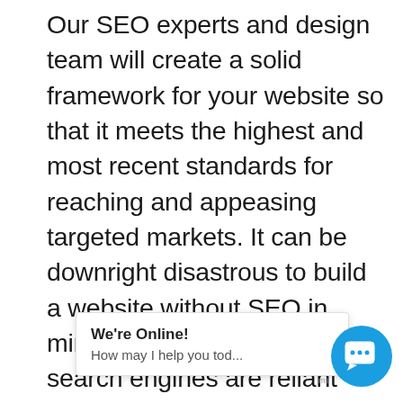Our SEO experts and design team will create a solid framework for your website so that it meets the highest and most recent standards for reaching and appeasing targeted markets. It can be downright disastrous to build a website without SEO in mind. This is because major search engines are reliant upon a very specific framework and when websites don't have it, it's virtually impossible for consumers to find these platforms on search engines like Google, Yahoo! and Bing. You should know that these search engines regularly revise and update their algorithms for assured user satisfaction. When you hire an SEO company Wodonga locals can count on, your page rank won't be impacted by algorithm updates. At Wodonga SEO Company, we'll build your sit[e according to the latest] regulations and r[egulations and we reg]ularly refresh and revise this design to ensure that it
We're Online!
How may I help you tod...